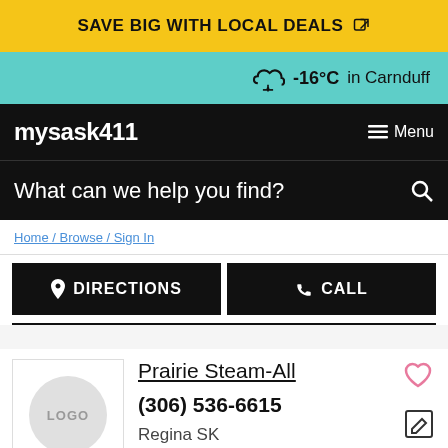SAVE BIG WITH LOCAL DEALS
-16°C in Carnduff
mysask411
Menu
What can we help you find?
DIRECTIONS
CALL
Prairie Steam-All
(306) 536-6615
Regina SK